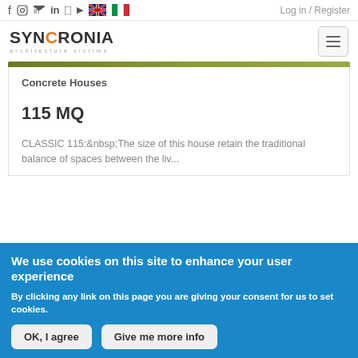Log in / Register
[Figure (logo): SYNCRONIA architecture victims logo with orange C]
Concrete Houses
115 MQ
CLASSIC 115: The size of this house retain the traditional balance of spaces between the liv...
We use cookies on this site to enhance your user experience
By clicking any link on this page you are giving your consent for us to set cookies.